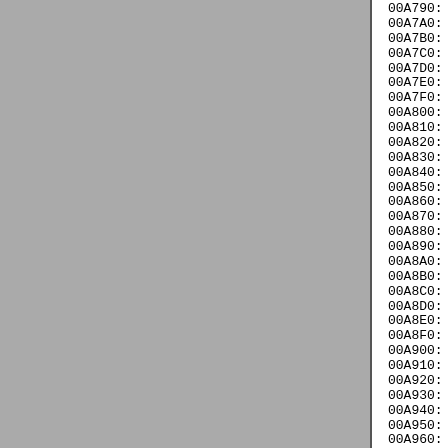[Figure (other): Gray panel on the left side of the page, approximately 370px wide]
00A790: CD D4 FB C9 60 69 C9 CD 90
00A7A0: E3 7D 32 01 02 2A FB 01 23
00A7B0: 0A FB 11 0F 00 EB CD 6A FB
00A7C0: 23 23 11 5A 00 EB CD 0A FB
00A7D0: DC FA 28 0C 2A 9C 04 11 0F
00A7E0: 2A 9C 04 11 06 00 CD BC FB
00A7F0: 2A EF 01 22 88 04 2A F1 01
00A800: 4D 18 08 21 04 00 50 59 19
00A810: CD 4E FC 28 7B 21 FC FF 09
00A820: 21 FE FF 09 5E 23 56 EB 22
00A830: 98 04 23 22 98 04 5E 16 00
00A840: 2A 88 04 19 EB 60 69 73 23
00A850: 04 23 E5 2A 98 04 23 22 98
00A860: E7 D1 D1 EB 2A 8A 04 19 EB
00A870: EB 22 80 04 2A 01 02 E5 2A
00A880: CD DA EC D1 D1 2A 01 02 E3
00A890: 2A 94 04 22 7A 04 2A 96 04
00A8A0: 7E 04 2A 8A 04 22 80 04 2A
00A8B0: C9 CD 90 FF 21 10 00 39 CD
00A8C0: E7 CD 87 FF CD 4A F2 21 10
00A8D0: F2 CD 02 E7 CD 87 FF CD 4A
00A8E0: 00 39 F9 2A 76 04 E5 2A 74
00A8F0: CD 73 E7 2A EF 01 22 7A 04
00A900: 74 04 22 EF 01 22 7E 04 2A
00A910: 04 21 DF 01 E5 21 0A 00 39
00A920: 21 E7 01 E5 21 12 00 39 CD
00A930: FF EB CA A0 E9 CD 0A E3 CA
00A940: B0 E9 D1 22 9E 04 11 01 00
00A950: 76 04 E5 2A 74 04 E5 CD B0
00A960: 04 22 7A 04 2A 80 04 22 7C